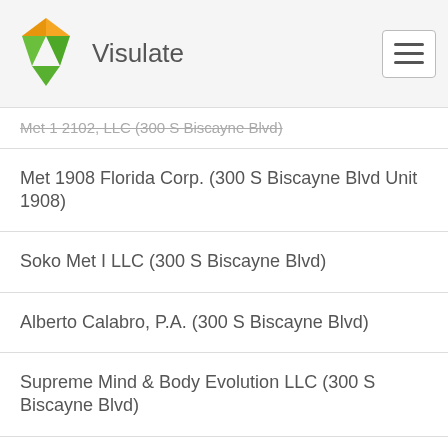Visulate
Met 1 2102, LLC (300 S Biscayne Blvd)
Met 1908 Florida Corp. (300 S Biscayne Blvd Unit 1908)
Soko Met I LLC (300 S Biscayne Blvd)
Alberto Calabro, P.A. (300 S Biscayne Blvd)
Supreme Mind & Body Evolution LLC (300 S Biscayne Blvd)
Da Remo LLC (300 S Biscayne Blvd)
Mjd Group LLC (300 S Biscayne Blvd)
Met 1 1022 Miami Corp (300 So Biscayne Blvd Apt 1022)
Blu Magic LLC (300 S Biscayne Blvd)
Dh Liquid Funding Corporation (300 South Biscayne Blvd)